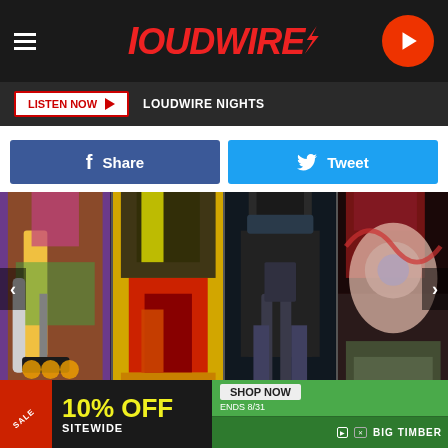[Figure (screenshot): Loudwire website header with logo, hamburger menu, and play button]
LISTEN NOW  ▶  LOUDWIRE NIGHTS
Share
Tweet
[Figure (photo): Gallery of 4 rock musician performance photos showing guitarists and performers on stage]
Image 1 of 67
10% OFF SITEWIDE  SHOP NOW  ENDS 8/31  BIG TIMBER
[Figure (photo): Advertisement banner: SALE 10% OFF SITEWIDE, SHOP NOW, ENDS 8/31, BIG TIMBER with outdoor gazebo image]